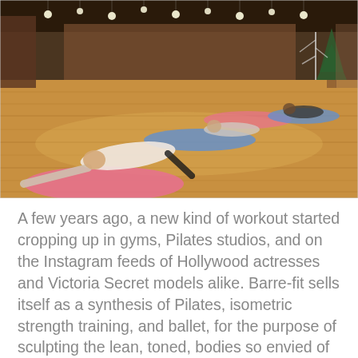[Figure (photo): Interior of a fitness studio with wooden floors. Multiple people are on yoga/exercise mats (pink and blue) performing floor exercises. Decorative lights hang from the ceiling. Christmas tree visible in the background right. Large mirrors on the walls.]
A few years ago, a new kind of workout started cropping up in gyms, Pilates studios, and on the Instagram feeds of Hollywood actresses and Victoria Secret models alike. Barre-fit sells itself as a synthesis of Pilates, isometric strength training, and ballet, for the purpose of sculpting the lean, toned, bodies so envied of ballerinas. But where did this explosive fitness trend come